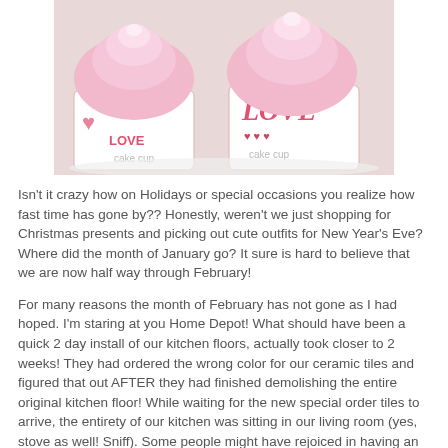[Figure (photo): Photo of pink frosted cupcakes in Valentine's Day themed cups with 'LOVE' and heart designs printed on the wrappers, displayed on a white plate.]
Isn't it crazy how on Holidays or special occasions you realize how fast time has gone by?? Honestly, weren't we just shopping for Christmas presents and picking out cute outfits for New Year's Eve? Where did the month of January go? It sure is hard to believe that we are now half way through February!
For many reasons the month of February has not gone as I had hoped. I'm staring at you Home Depot! What should have been a quick 2 day install of our kitchen floors, actually took closer to 2 weeks! They had ordered the wrong color for our ceramic tiles and figured that out AFTER they had finished demolishing the entire original kitchen floor! While waiting for the new special order tiles to arrive, the entirety of our kitchen was sitting in our living room (yes, stove as well! Sniff). Some people might have rejoiced in having an excuse